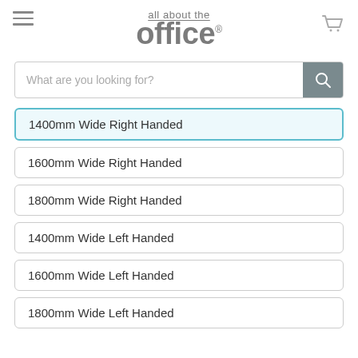all about the office
What are you looking for?
1400mm Wide Right Handed
1600mm Wide Right Handed
1800mm Wide Right Handed
1400mm Wide Left Handed
1600mm Wide Left Handed
1800mm Wide Left Handed